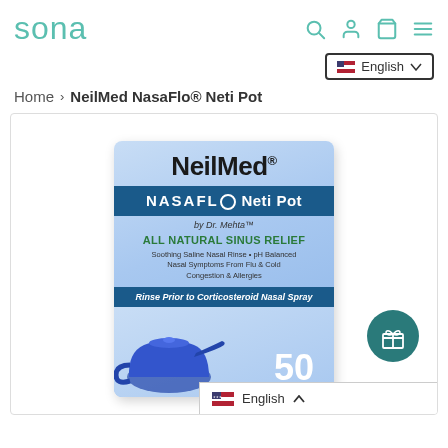sona
Home > NeilMed NasaFlo® Neti Pot
[Figure (photo): NeilMed NasaFlo Neti Pot product box — blue box showing NeilMed brand name, NASAFLO Neti Pot by Dr. Mehta, ALL NATURAL SINUS RELIEF, Soothing Saline Nasal Rinse pH Balanced, Nasal Symptoms From Flu & Cold Congestion & Allergies, Rinse Prior to Corticosteroid Nasal Spray, 50 Premixed Packets, with a blue neti pot ceramic teapot-style container.]
English